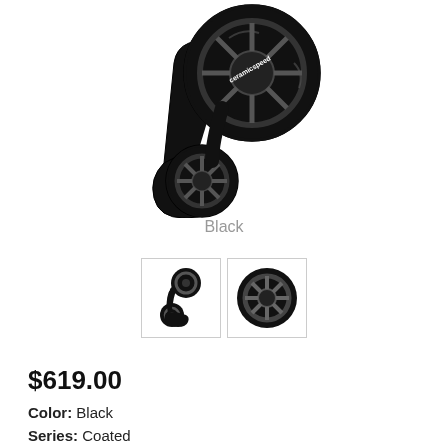[Figure (photo): CeramicSpeed derailleur pulley cage system in black, showing large upper and lower pulley wheels with cage bracket, branded with CeramicSpeed logo]
Black
[Figure (photo): Two thumbnail images: left shows full black CeramicSpeed OSPW system, right shows close-up of black pulley wheel]
$619.00
Color: Black
Series: Coated